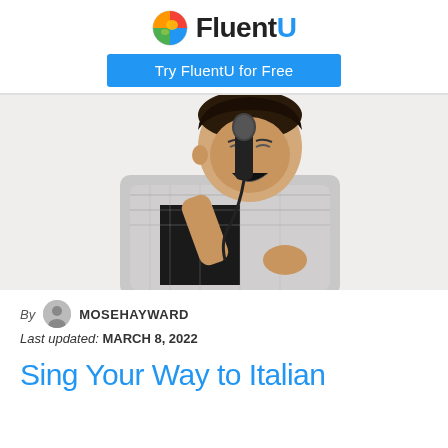FluentU – Try FluentU for Free
[Figure (photo): Young man singing passionately into a microphone, wearing a plaid shirt, mouth wide open, eyes closed, white background.]
By MOSEHAYWARD
Last updated: MARCH 8, 2022
Sing Your Way to Italian